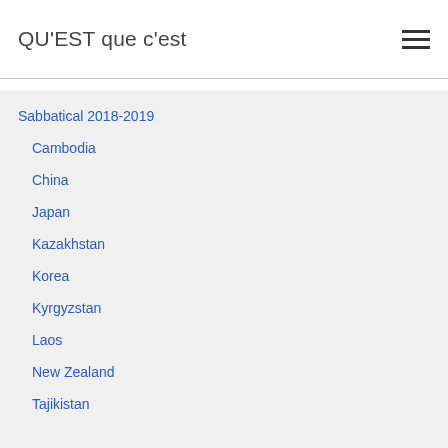QU'EST que c'est
Sabbatical 2018-2019
Cambodia
China
Japan
Kazakhstan
Korea
Kyrgyzstan
Laos
New Zealand
Tajikistan